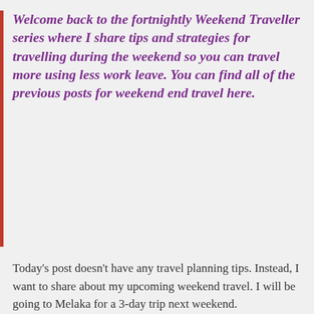Welcome back to the fortnightly Weekend Traveller series where I share tips and strategies for travelling during the weekend so you can travel more using less work leave. You can find all of the previous posts for weekend end travel here.
Today's post doesn't have any travel planning tips. Instead, I want to share about my upcoming weekend travel. I will be going to Melaka for a 3-day trip next weekend.
Since my round-the-world trip, I've stopped most of my
[Figure (other): Advertisement banner: 'Turn your blog into a money-making online course.' with arrow on dark background]